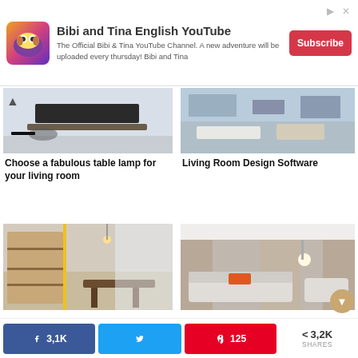[Figure (screenshot): Advertisement banner for Bibi and Tina English YouTube channel with logo, description text, and Subscribe button]
Bibi and Tina English YouTube
The Official Bibi & Tina YouTube Channel. A new adventure will be uploaded every thursday! Bibi and Tina
[Figure (photo): Interior photo of a modern living room with white furniture and TV unit for article about choosing a fabulous table lamp]
Choose a fabulous table lamp for your living room
[Figure (photo): Interior photo of a modern living room with neutral tones and sofa for article about Living Room Design Software]
Living Room Design Software
[Figure (photo): Interior photo of a modern home office with bookshelf and mid-century desk]
[Figure (photo): Interior photo of a modern living room with white sofas, curtains and orange accent cushion]
3,1K
3,2K SHARES